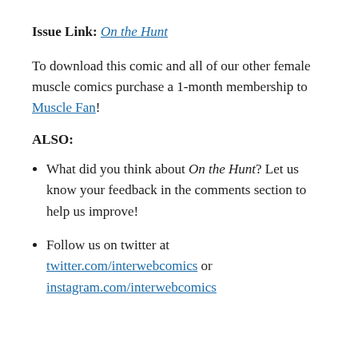Issue Link: On the Hunt
To download this comic and all of our other female muscle comics purchase a 1-month membership to Muscle Fan!
ALSO:
What did you think about On the Hunt? Let us know your feedback in the comments section to help us improve!
Follow us on twitter at twitter.com/interwebcomics or instagram.com/interwebcomics